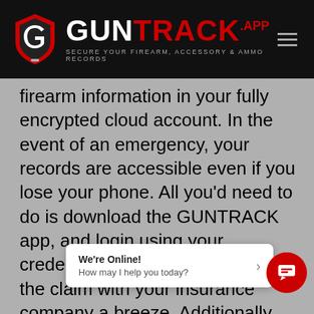GUNTRACK.APP — SECURE YOUR FIREARM, ACCESSORY & AMMO RECORDS
firearm information in your fully encrypted cloud account. In the event of an emergency, your records are accessible even if you lose your phone. All you'd need to do is download the GUNTRACK app, and login using your credentials. This will make filing the claim with your insurance company a breeze. Additionally, since you paid for your account, the data is solely yours and once too fully encrypted,